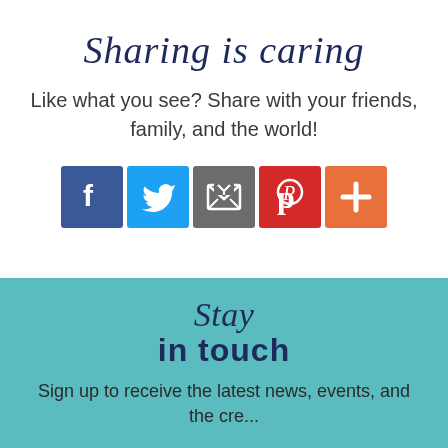Sharing is caring
Like what you see? Share with your friends, family, and the world!
[Figure (infographic): Five social media share buttons: Facebook (blue), Twitter (light blue), Email (gray), Pinterest (red), Google+ (orange)]
Stay in touch
Sign up to receive the latest news, events, and the cre...